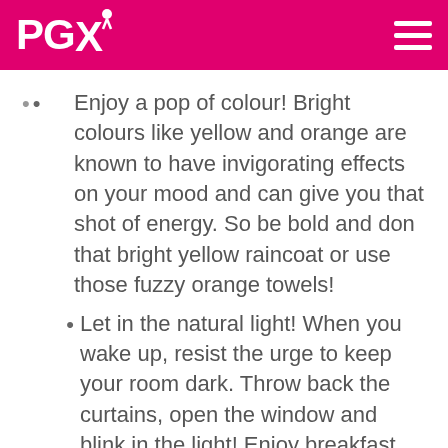PGX
Enjoy a pop of colour! Bright colours like yellow and orange are known to have invigorating effects on your mood and can give you that shot of energy. So be bold and don that bright yellow raincoat or use those fuzzy orange towels!
Let in the natural light! When you wake up, resist the urge to keep your room dark. Throw back the curtains, open the window and blink in the light! Enjoy breakfast outside. Dr. Joyce Walsleben, Ph.D. says, ? If you can go outside within 15 minutes of